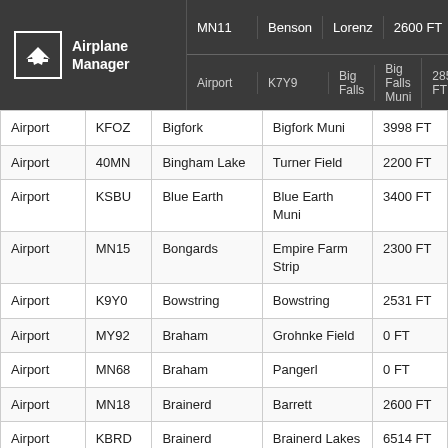Airplane Manager — Airport listing header showing MN11 Benson Lorenz 2600 FT and K7Y9 Big Falls Big Falls Muni 2850 FT
| Type | Code | City | Name | Runway |
| --- | --- | --- | --- | --- |
| Airport | KFOZ | Bigfork | Bigfork Muni | 3998 FT |
| Airport | 40MN | Bingham Lake | Turner Field | 2200 FT |
| Airport | KSBU | Blue Earth | Blue Earth Muni | 3400 FT |
| Airport | MN15 | Bongards | Empire Farm Strip | 2300 FT |
| Airport | K9Y0 | Bowstring | Bowstring | 2531 FT |
| Airport | MY92 | Braham | Grohnke Field | 0 FT |
| Airport | MN68 | Braham | Pangerl | 0 FT |
| Airport | MN18 | Brainerd | Barrett | 2600 FT |
| Airport | KBRD | Brainerd | Brainerd Lakes Rgnl | 6514 FT |